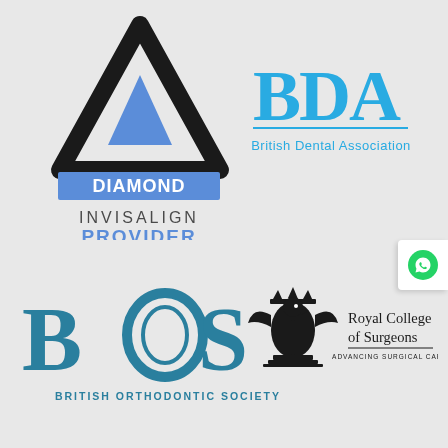[Figure (logo): Diamond Invisalign Provider logo with black triangle outline, blue triangle inside, blue DIAMOND banner, and grey INVISALIGN PROVIDER text]
[Figure (logo): BDA British Dental Association logo in cyan/teal color with large BDA letters and horizontal line]
[Figure (logo): BOS British Orthodontic Society logo in teal with large stylized letters and BRITISH ORTHODONTIC SOCIETY text below]
[Figure (logo): Royal College of Surgeons logo with eagle crest and text ADVANCING SURGICAL CARE]
[Figure (other): WhatsApp icon button on right edge]